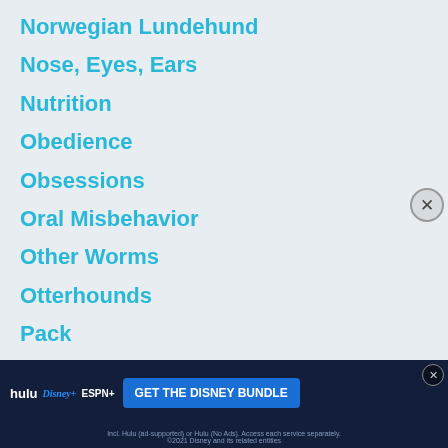Norwegian Lundehund
Nose, Eyes, Ears
Nutrition
Obedience
Obsessions
Oral Misbehavior
Other Worms
Otterhounds
Pack
Pack Leader
Paw Care
Pet Insurance
Pit Bull
Pit Bulls
Poison
Poison